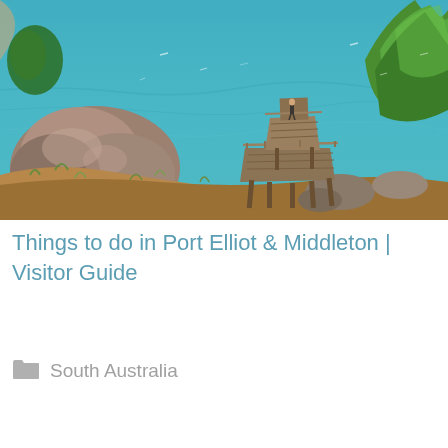[Figure (photo): Aerial/elevated coastal scene showing a weathered wooden jetty/pier extending over turquoise-blue ocean water, with large granite boulders, dry grassy hillside, and green trees in the foreground and background. A single person stands on the jetty.]
Things to do in Port Elliot & Middleton | Visitor Guide
South Australia